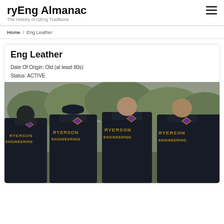ryEng Almanac — The History of ryEng Traditions
Home / Eng Leather
Eng Leather
Date Of Origin: Old (at least 80s)
Status: ACTIVE
[Figure (photo): Four people standing with their backs to the camera wearing dark leather jackets with 'RYERSON ENGINEERING' text and a diamond-shaped emblem on the back, in an outdoor setting with trees in the background.]